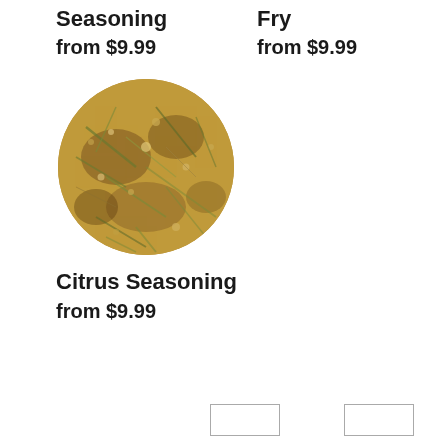Seasoning
from $9.99
Fry
from $9.99
[Figure (photo): Close-up photo of citrus seasoning blend — a mix of dried herbs, spices, and citrus zest in golden-brown and green tones, piled in a circular mound]
Citrus Seasoning
from $9.99